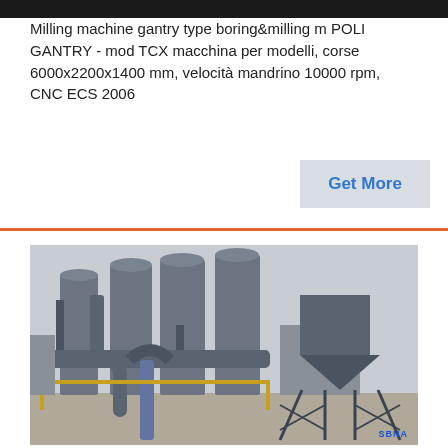Milling machine gantry type boring&milling m POLI GANTRY - mod TCX macchina per modelli, corse 6000x2200x1400 mm, velocità mandrino 10000 rpm, CNC ECS 2006
[Figure (photo): Industrial facility showing large grey cylindrical silos and hoppers with piping and structural steel framework, outdoor setting]
Get More